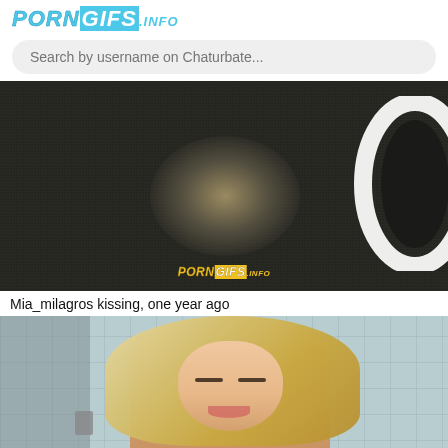PORNGIFS.INFO
Search by username on Chaturbate...
[Figure (photo): Dark background with ring light on right side, watermark PORNGIFS.INFO in center-bottom]
Mia_milagros kissing, one year ago
[Figure (photo): Blonde woman looking down, tiled wall background]